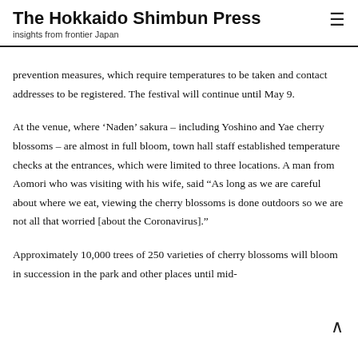The Hokkaido Shimbun Press
insights from frontier Japan
prevention measures, which require temperatures to be taken and contact addresses to be registered. The festival will continue until May 9.
At the venue, where ‘Naden’ sakura – including Yoshino and Yae cherry blossoms – are almost in full bloom, town hall staff established temperature checks at the entrances, which were limited to three locations. A man from Aomori who was visiting with his wife, said “As long as we are careful about where we eat, viewing the cherry blossoms is done outdoors so we are not all that worried [about the Coronavirus].”
Approximately 10,000 trees of 250 varieties of cherry blossoms will bloom in succession in the park and other places until mid-